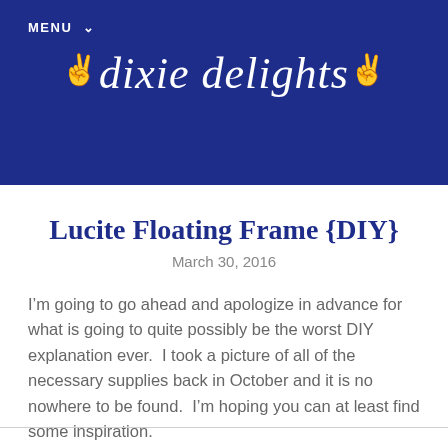MENU
dixie delights
Lucite Floating Frame {DIY}
March 30, 2016
I’m going to go ahead and apologize in advance for what is going to quite possibly be the worst DIY explanation ever.  I took a picture of all of the necessary supplies back in October and it is no nowhere to be found.  I’m hoping you can at least find some inspiration.